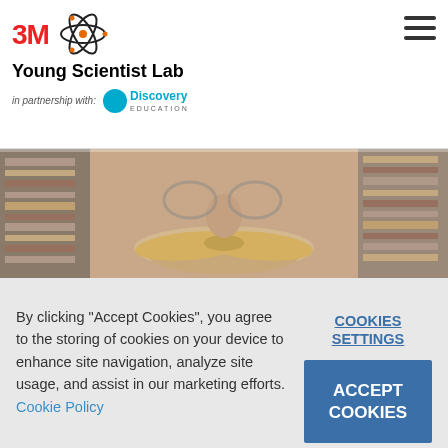3M Young Scientist Lab in partnership with Discovery Education
[Figure (photo): Close-up photo of a man's face showing a large mustache, with bookshelves visible in the background]
By clicking "Accept Cookies", you agree to the storing of cookies on your device to enhance site navigation, analyze site usage, and assist in our marketing efforts. Cookie Policy
COOKIES SETTINGS
ACCEPT COOKIES